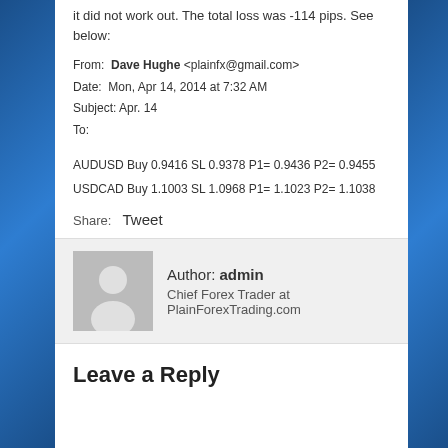it did not work out. The total loss was -114 pips. See below:
From: Dave Hughe <plainfx@gmail.com>
Date: Mon, Apr 14, 2014 at 7:32 AM
Subject: Apr. 14
To:

AUDUSD Buy 0.9416 SL 0.9378 P1= 0.9436 P2= 0.9455

USDCAD Buy 1.1003 SL 1.0968 P1= 1.1023 P2= 1.1038
Share:  Tweet
Author: admin
Chief Forex Trader at PlainForexTrading.com
Leave a Reply